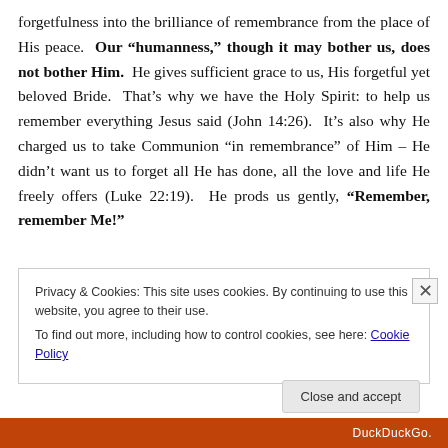forgetfulness into the brilliance of remembrance from the place of His peace. Our “humanness,” though it may bother us, does not bother Him. He gives sufficient grace to us, His forgetful yet beloved Bride. That’s why we have the Holy Spirit: to help us remember everything Jesus said (John 14:26). It’s also why He charged us to take Communion “in remembrance” of Him – He didn’t want us to forget all He has done, all the love and life He freely offers (Luke 22:19). He prods us gently, “Remember, remember Me!”
Privacy & Cookies: This site uses cookies. By continuing to use this website, you agree to their use.
To find out more, including how to control cookies, see here: Cookie Policy
Close and accept
DuckDuckGo.